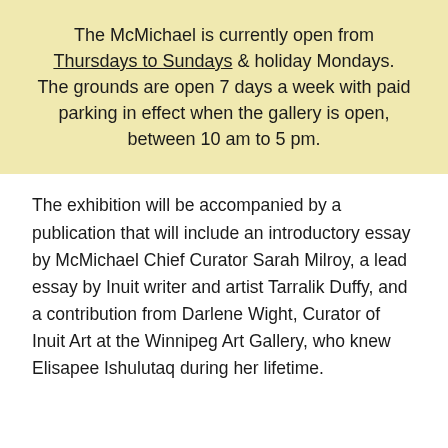The McMichael is currently open from Thursdays to Sundays & holiday Mondays. The grounds are open 7 days a week with paid parking in effect when the gallery is open, between 10 am to 5 pm.
The exhibition will be accompanied by a publication that will include an introductory essay by McMichael Chief Curator Sarah Milroy, a lead essay by Inuit writer and artist Tarralik Duffy, and a contribution from Darlene Wight, Curator of Inuit Art at the Winnipeg Art Gallery, who knew Elisapee Ishulutaq during her lifetime.